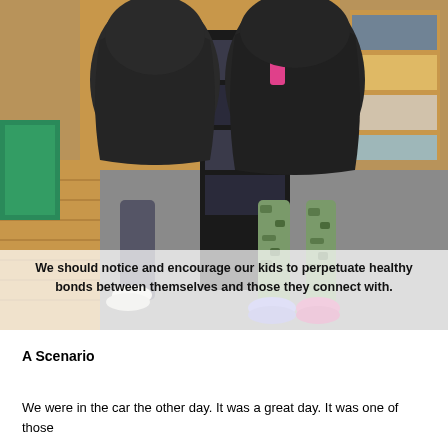[Figure (photo): Two children standing with their backs to the camera in a classroom/library setting, both wearing dark puffy winter coats. One child has gray pants and white shoes, the other has camo-patterned leggings and colorful sneakers. They are looking at a book display rack. Text overlay at the bottom reads: 'We should notice and encourage our kids to perpetuate healthy bonds between themselves and those they connect with.']
A Scenario
We were in the car the other day. It was a great day. It was one of those